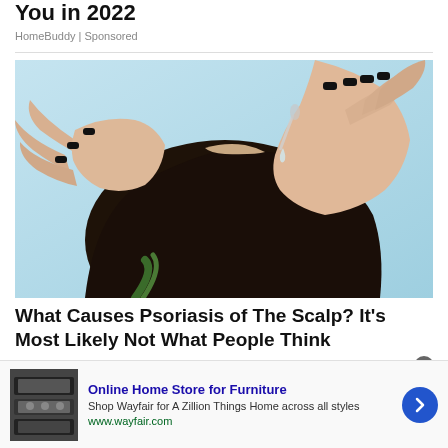You in 2022
HomeBuddy | Sponsored
[Figure (photo): Person with dark hair and black nail polish applying a liquid serum or oil dropper to their scalp, against a light blue background]
What Causes Psoriasis of The Scalp? It's Most Likely Not What People Think
Online Home Store for Furniture
Shop Wayfair for A Zillion Things Home across all styles
www.wayfair.com